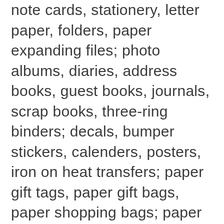note cards, stationery, letter paper, folders, paper expanding files; photo albums, diaries, address books, guest books, journals, scrap books, three-ring binders; decals, bumper stickers, calenders, posters, iron on heat transfers; paper gift tags, paper gift bags, paper shopping bags; paper napkins, paper guest towels; calendars; bookmarks; framed art pictures, prints and paintings; art prints, art mounts, art wall hangings and decorative wall art in the nature of pictures and photographs. furniture; pillows; picture frames; feather beds; mattresses and box springs; sleeping bags; drapery